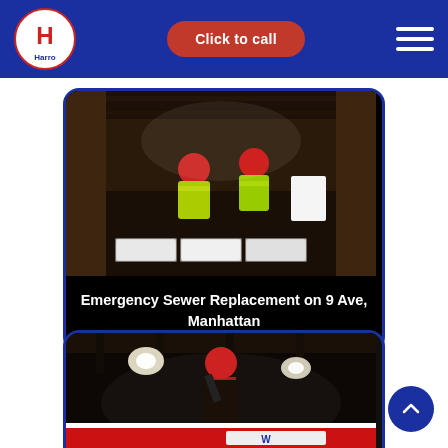Harro logo | Click to call | hamburger menu
[Figure (photo): Two workers in yellow high-visibility vests and red hard hats working in an underground excavation trench, with concrete blocks visible in the foreground and exposed soil/rock walls.]
Emergency Sewer Replacement on 9 Ave, Manhattan
[Figure (photo): Worker in red hard hat inside a dark underground tunnel or excavation, with bright work lights illuminating the scene. A red and white branded vehicle or banner is partially visible at the bottom.]